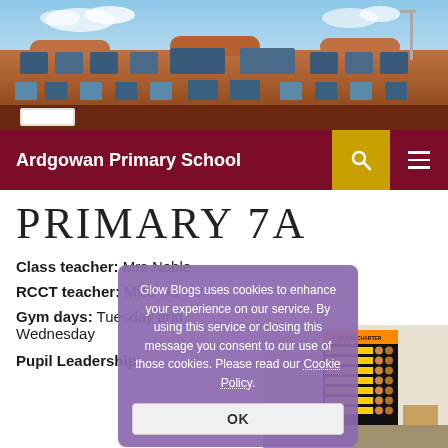[Figure (photo): Exterior photo of Ardgowan Primary School building, a red-brick school with blue sky behind]
Ardgowan Primary School
PRIMARY 7A
Class teacher: Mrs Noble
RCCT teacher: Miss Hu[nde]
Gym days: Tuesday and Wednesday
[Figure (photo): Classroom photo showing a Class Charter board with student photos on yellow and black background]
Glow Blogs uses cookies to enhance your experience on our service. By using this service or closing this message you consent to our use of those cookies. Please read our Cookie Policy.
OK
Pupil Leadership: